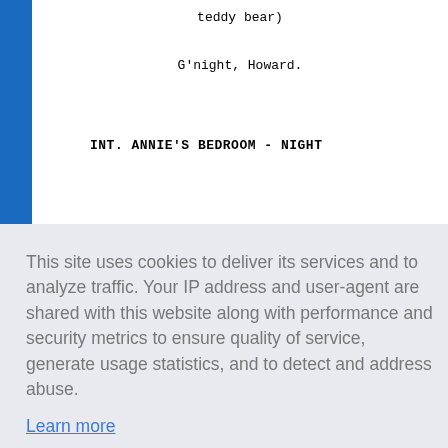teddy bear)
G'night, Howard.
INT. ANNIE'S BEDROOM - NIGHT
ng love.
This site uses cookies to deliver its services and to analyze traffic. Your IP address and user-agent are shared with this website along with performance and security metrics to ensure quality of service, generate usage statistics, and to detect and address abuse.
Learn more
Got it!
robe.
As Annie comes downstairs in a bathrobe.